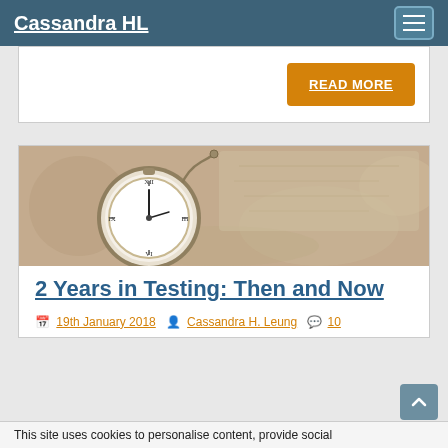Cassandra HL
[Figure (screenshot): READ MORE orange button on white card background]
[Figure (photo): Pocket watch lying in sand with chain, overhead view]
2 Years in Testing: Then and Now
19th January 2018   Cassandra H. Leung   10
This site uses cookies to personalise content, provide social